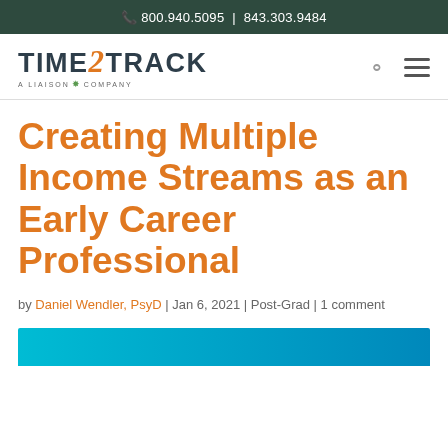📞 800.940.5095 | 843.303.9484
[Figure (logo): TIME2TRACK - A LIAISON COMPANY logo with orange '2' and green leaf icon]
Creating Multiple Income Streams as an Early Career Professional
by Daniel Wendler, PsyD | Jan 6, 2021 | Post-Grad | 1 comment
[Figure (photo): Partial view of a blue gradient image at the bottom of the page]